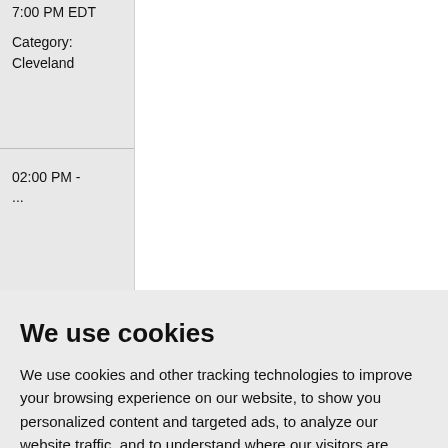7:00 PM EDT
Category:
Cleveland
02:00 PM -
We use cookies
We use cookies and other tracking technologies to improve your browsing experience on our website, to show you personalized content and targeted ads, to analyze our website traffic, and to understand where our visitors are coming from.
I agree
Change my preferences